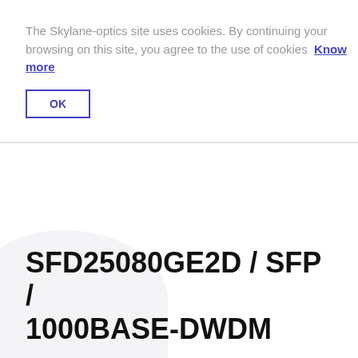The Skylane-optics site uses cookies. By continuing your browsing on this site, you agree to the use of cookies Know more
OK
SFD25080GE2D / SFP / 1000BASE-DWDM